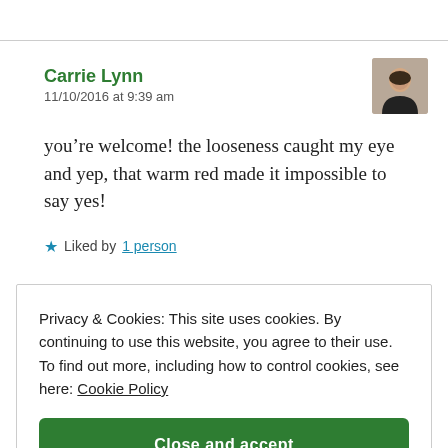Carrie Lynn
11/10/2016 at 9:39 am
[Figure (photo): Avatar photo of Carrie Lynn, a woman in dark clothing]
you’re welcome! the looseness caught my eye and yep, that warm red made it impossible to say yes!
★ Liked by 1 person
Privacy & Cookies: This site uses cookies. By continuing to use this website, you agree to their use. To find out more, including how to control cookies, see here: Cookie Policy
Close and accept